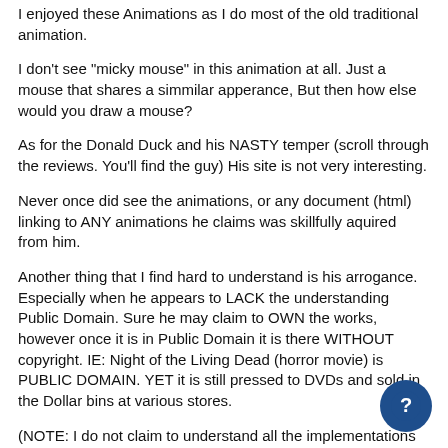I enjoyed these Animations as I do most of the old traditional animation.
I don't see "micky mouse" in this animation at all. Just a mouse that shares a simmilar apperance, But then how else would you draw a mouse?
As for the Donald Duck and his NASTY temper (scroll through the reviews. You'll find the guy) His site is not very interesting.
Never once did see the animations, or any document (html) linking to ANY animations he claims was skillfully aquired from him.
Another thing that I find hard to understand is his arrogance. Especially when he appears to LACK the understanding Public Domain. Sure he may claim to OWN the works, however once it is in Public Domain it is there WITHOUT copyright. IE: Night of the Living Dead (horror movie) is PUBLIC DOMAIN. YET it is still pressed to DVDs and sold in the Dollar bins at various stores.
(NOTE: I do not claim to understand all the implementations